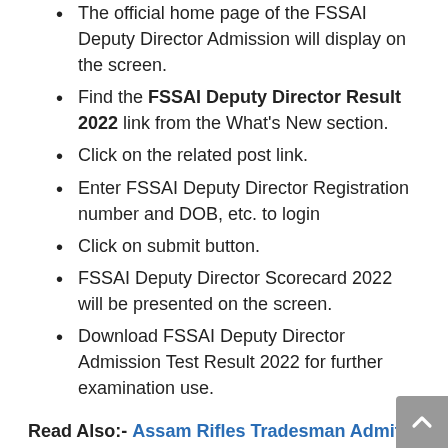The official home page of the FSSAI Deputy Director Admission will display on the screen.
Find the FSSAI Deputy Director Result 2022 link from the What's New section.
Click on the related post link.
Enter FSSAI Deputy Director Registration number and DOB, etc. to login
Click on submit button.
FSSAI Deputy Director Scorecard 2022 will be presented on the screen.
Download FSSAI Deputy Director Admission Test Result 2022 for further examination use.
Read Also:- Assam Rifles Tradesman Admit Card 2022
FSSAI Deputy Director Result 2022 Result will select the list of eligible applicants based on the cut-off marks and merit list. Consequently, all